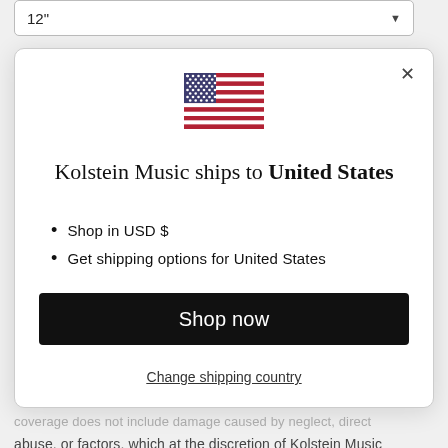12"
[Figure (illustration): US flag emoji/icon]
Kolstein Music ships to United States
Shop in USD $
Get shipping options for United States
Shop now
Change shipping country
coverage does not include damage caused by neglect, direct abuse, or factors, which at the discretion of Kolstein Music